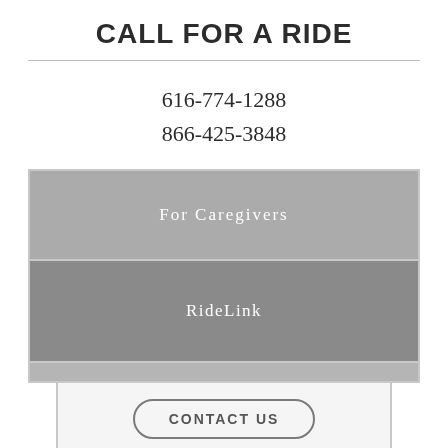CALL FOR A RIDE
616-774-1288
866-425-3848
[Figure (screenshot): Gray button labeled 'For Caregivers']
[Figure (screenshot): Darker gray button labeled 'RideLink']
[Figure (screenshot): Light gray section with 'CONTACT US' pill button]